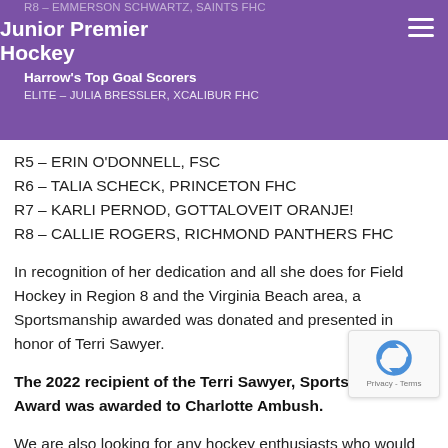R8 – EMMERSON SCHWARTZ, SAINTS FHC
Junior Premier Hockey
Harrow's Top Goal Scorers
ELITE – JULIA BRESSLER, XCALIBUR FHC
R5 – ERIN O'DONNELL, FSC
R6 – TALIA SCHECK, PRINCETON FHC
R7 – KARLI PERNOD, GOTTALOVEIT ORANJE!
R8 – CALLIE ROGERS, RICHMOND PANTHERS FHC
In recognition of her dedication and all she does for Field Hockey in Region 8 and the Virginia Beach area, a Sportsmanship awarded was donated and presented in honor of Terri Sawyer.
The 2022 recipient of the Terri Sawyer, Sportsmanship Award was awarded to Charlotte Ambush.
We are also looking for any hockey enthusiasts who would like to contribute